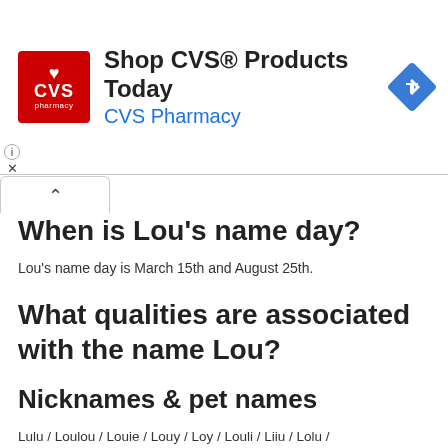[Figure (other): CVS Pharmacy advertisement banner with red CVS logo, text 'Shop CVS® Products Today' and 'CVS Pharmacy' in blue, and a blue diamond navigation icon on the right]
When is Lou's name day?
Lou's name day is March 15th and August 25th.
What qualities are associated with the name Lou?
Nicknames & pet names
Lulu / Loulou / Louie / Louy / Loy / Louli / Liiu / Lolu / Lula / Louleinchen
word compound